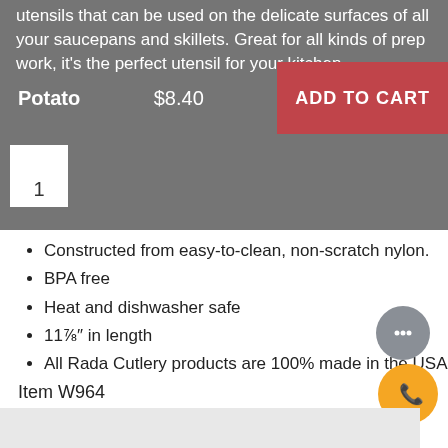utensils that can be used on the delicate surfaces of all your saucepans and skillets. Great for all kinds of prep work, it's the perfect utensil for your kitchen.
Potato   $8.40   ADD TO CART
Constructed from easy-to-clean, non-scratch nylon.
BPA free
Heat and dishwasher safe
11⅞″ in length
All Rada Cutlery products are 100% made in the USA.
Item W964